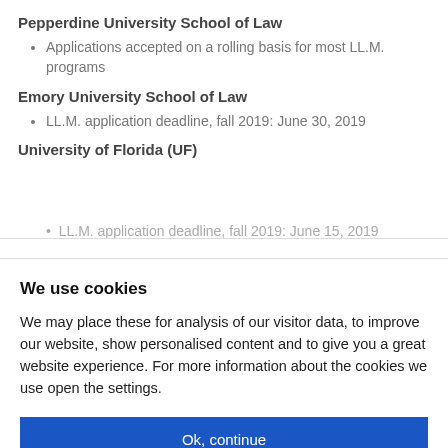Pepperdine University School of Law
Applications accepted on a rolling basis for most LL.M. programs
Emory University School of Law
LL.M. application deadline, fall 2019: June 30, 2019
University of Florida (UF)
LL.M. application deadline, fall 2019: June 15, 2019
We use cookies
We may place these for analysis of our visitor data, to improve our website, show personalised content and to give you a great website experience. For more information about the cookies we use open the settings.
Ok, continue
Deny
No, adjust